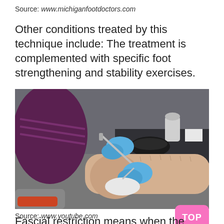Source: www.michiganfootdoctors.com
Other conditions treated by this technique include: The treatment is complemented with specific foot strengthening and stability exercises.
[Figure (photo): A medical professional wearing blue gloves using a metal instrument to perform soft tissue treatment (IASTM/Graston technique) on a patient's foot and lower leg. Various medical supplies visible on a table in the background.]
Source: www.youtube.com
Fascial restriction means when the fascia is not able